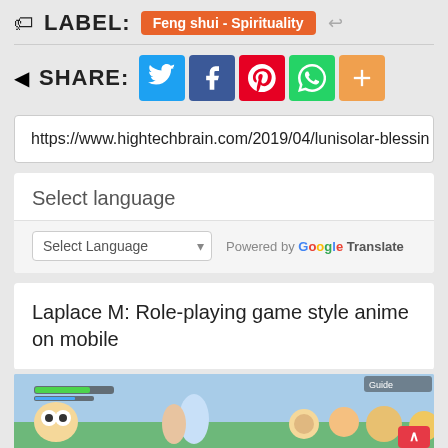LABEL: Feng shui - Spirituality
SHARE: [Twitter] [Facebook] [Pinterest] [WhatsApp] [More]
https://www.hightechbrain.com/2019/04/lunisolar-blessin
Select language
Select Language — Powered by Google Translate
Laplace M: Role-playing game style anime on mobile
[Figure (screenshot): Mobile game screenshot showing anime-style role-playing game with cartoon characters]